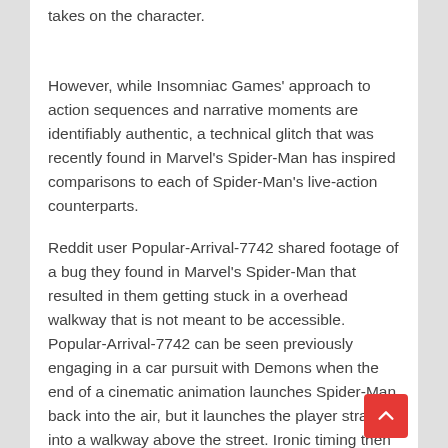takes on the character.
However, while Insomniac Games' approach to action sequences and narrative moments are identifiably authentic, a technical glitch that was recently found in Marvel's Spider-Man has inspired comparisons to each of Spider-Man's live-action counterparts.
Reddit user Popular-Arrival-7742 shared footage of a bug they found in Marvel's Spider-Man that resulted in them getting stuck in a overhead walkway that is not meant to be accessible. Popular-Arrival-7742 can be seen previously engaging in a car pursuit with Demons when the end of a cinematic animation launches Spider-Man back into the air, but it launches the player straight into a walkway above the street. Ironic timing then removes the walkway's geometry collision and Popular-Arrival-7742 lands within it, where they are then unable to get